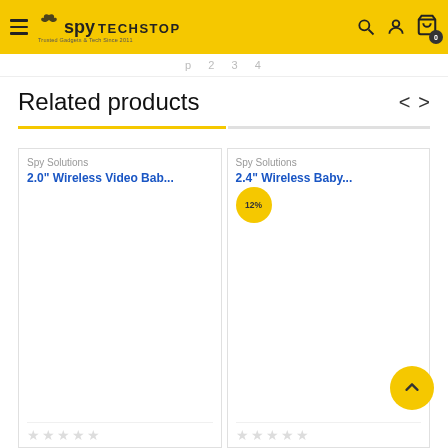Spy TechStop — Navigation header with logo, search, account, and cart icons
p 2 3 4 (pagination)
Related products
Spy Solutions
2.0" Wireless Video Bab...
Spy Solutions
2.4" Wireless Baby...
12%
[Figure (other): Scroll-to-top button with upward chevron arrow]